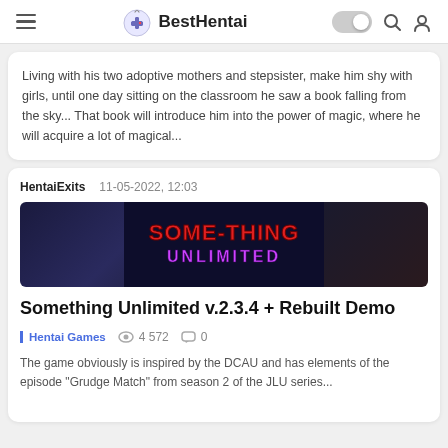BestHentai
Living with his two adoptive mothers and stepsister, make him shy with girls, until one day sitting on the classroom he saw a book falling from the sky... That book will introduce him into the power of magic, where he will acquire a lot of magical...
HentaiExits   11-05-2022, 12:03
[Figure (screenshot): Screenshot of Something Unlimited game title screen with red and purple text on dark background]
Something Unlimited v.2.3.4 + Rebuilt Demo
Hentai Games   4 572   0
The game obviously is inspired by the DCAU and has elements of the episode "Grudge Match" from season 2 of the JLU series...